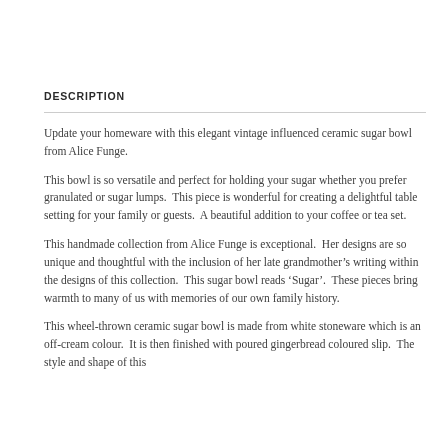DESCRIPTION
Update your homeware with this elegant vintage influenced ceramic sugar bowl from Alice Funge.
This bowl is so versatile and perfect for holding your sugar whether you prefer granulated or sugar lumps.  This piece is wonderful for creating a delightful table setting for your family or guests.  A beautiful addition to your coffee or tea set.
This handmade collection from Alice Funge is exceptional.  Her designs are so unique and thoughtful with the inclusion of her late grandmother’s writing within the designs of this collection.  This sugar bowl reads ‘Sugar’.  These pieces bring warmth to many of us with memories of our own family history.
This wheel-thrown ceramic sugar bowl is made from white stoneware which is an off-cream colour.  It is then finished with poured gingerbread coloured slip.  The style and shape of this